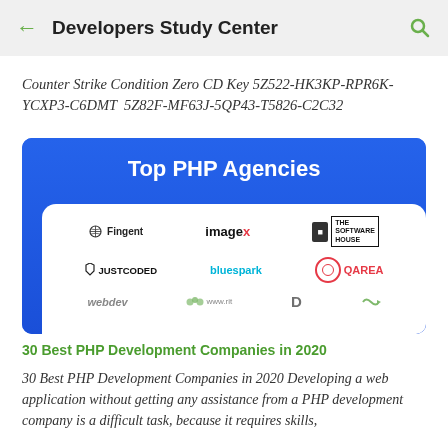Developers Study Center
Counter Strike Condition Zero CD Key 5Z522-HK3KP-RPR6K-YCXP3-C6DMT  5Z82F-MF63J-5QP43-T5826-C2C32
[Figure (illustration): Banner image showing 'Top PHP Agencies' in white text on blue background, with a white card below showing logos of companies: Fingent, imagex, The Software House, JUSTCODED, bluespark, QAREA, webdev and others (partially visible)]
30 Best PHP Development Companies in 2020
30 Best PHP Development Companies in 2020 Developing a web application without getting any assistance from a PHP development company is a difficult task, because it requires skills,